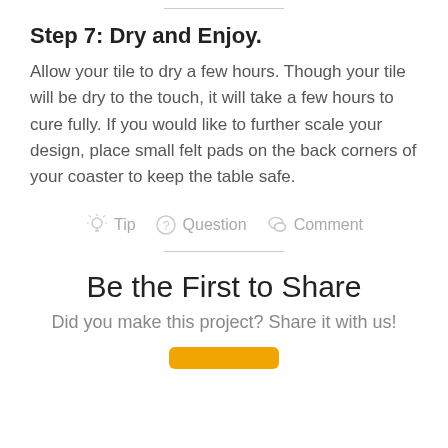Step 7: Dry and Enjoy.
Allow your tile to dry a few hours. Though your tile will be dry to the touch, it will take a few hours to cure fully. If you would like to further scale your design, place small felt pads on the back corners of your coaster to keep the table safe.
Tip   Question   Comment
Be the First to Share
Did you make this project? Share it with us!